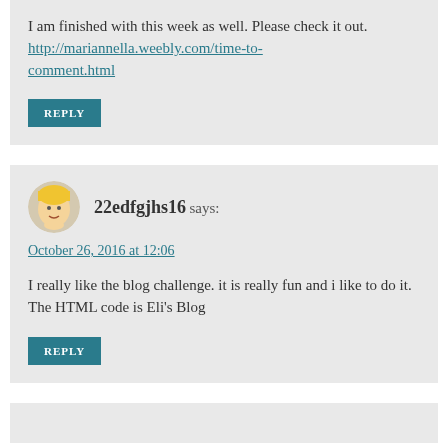I am finished with this week as well. Please check it out. http://mariannella.weebly.com/time-to-comment.html
REPLY
22edfgjhs16 says:
October 26, 2016 at 12:06
I really like the blog challenge. it is really fun and i like to do it. The HTML code is Eli's Blog
REPLY